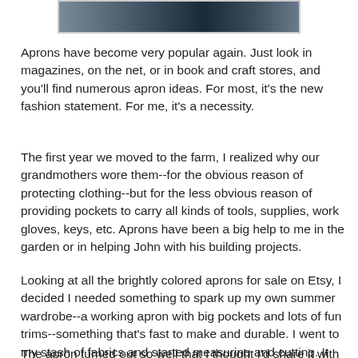[Figure (photo): Partial photo strip at top of page showing a person wearing an apron, cropped]
Aprons have become very popular again. Just look in magazines, on the net, or in book and craft stores, and you'll find numerous apron ideas. For most, it's the new fashion statement. For me, it's a necessity.
The first year we moved to the farm, I realized why our grandmothers wore them--for the obvious reason of protecting clothing--but for the less obvious reason of providing pockets to carry all kinds of tools, supplies, work gloves, keys, etc. Aprons have been a big help to me in the garden or in helping John with his building projects.
Looking at all the brightly colored aprons for sale on Etsy, I decided I needed something to spark up my own summer wardrobe--a working apron with big pockets and lots of fun trims--something that's fast to make and durable. I went to my stash of fabrics and started measuring and cutting. It was a projects that grew as I went along.
The apron turned out so well that I thought I'd share it with